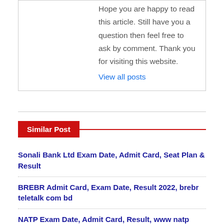Hope you are happy to read this article. Still have you a question then feel free to ask by comment. Thank you for visiting this website.
View all posts
Similar Post
Sonali Bank Ltd Exam Date, Admit Card, Seat Plan & Result
BREBR Admit Card, Exam Date, Result 2022, brebr teletalk com bd
NATP Exam Date, Admit Card, Result, www natp teletalk com bd